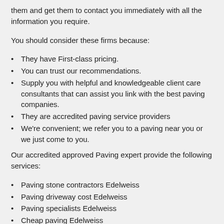them and get them to contact you immediately with all the information you require.
You should consider these firms because:
They have First-class pricing.
You can trust our recommendations.
Supply you with helpful and knowledgeable client care consultants that can assist you link with the best paving companies.
They are accredited paving service providers
We're convenient; we refer you to a paving near you or we just come to you.
Our accredited approved Paving expert provide the following services:
Paving stone contractors Edelweiss
Paving driveway cost Edelweiss
Paving specialists Edelweiss
Cheap paving Edelweiss
Paving solutions Edelweiss
Outdoor paving Edelweiss
Paving installation Edelweiss
Clay brick pavers Edelweiss
Paving and driveways Edelweiss
Paving Edelweiss
Concrete paving contractors Edelweiss
Pavers Edelweiss
Paving contractors Edelweiss